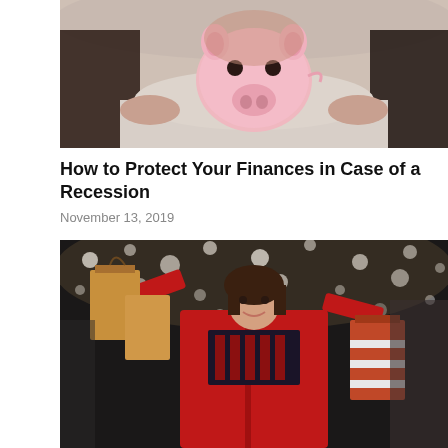[Figure (photo): Woman holding a pink piggy bank up to her face, sitting on a couch, wearing a light beige outfit with dark hair]
How to Protect Your Finances in Case of a Recession
November 13, 2019
[Figure (photo): Happy woman in red coat holding multiple shopping bags with lights in the background at night, holiday shopping scene]